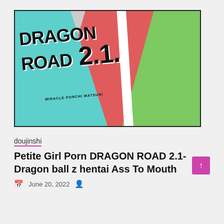[Figure (illustration): Manga/doujinshi cover art for 'DRAGON ROAD 2.1 - Miracle Ponchi Matsuri' showing three color sections (teal, red, green) with anime-style figures and large bold title text.]
doujinshi
Petite Girl Porn DRAGON ROAD 2.1- Dragon ball z hentai Ass To Mouth
June 20, 2022